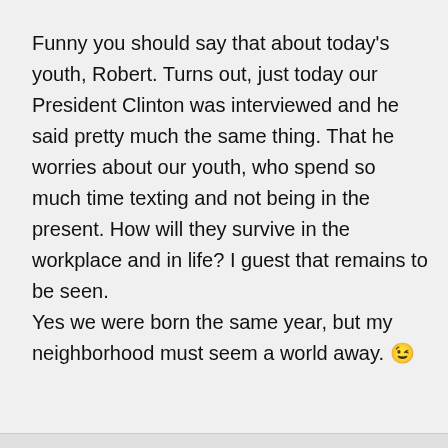Funny you should say that about today's youth, Robert. Turns out, just today our President Clinton was interviewed and he said pretty much the same thing. That he worries about our youth, who spend so much time texting and not being in the present. How will they survive in the workplace and in life? I guest that remains to be seen. Yes we were born the same year, but my neighborhood must seem a world away. 😉